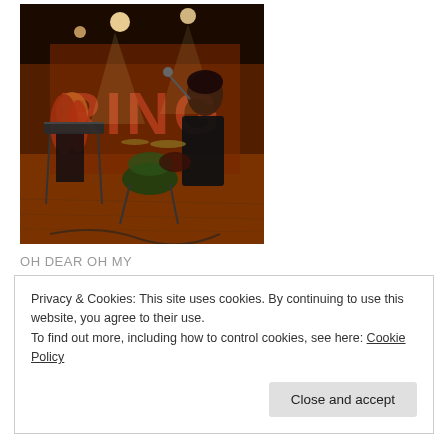[Figure (photo): Band performing on stage in a dimly lit venue. A woman with long red hair plays keyboard on the left, and a man in a dark jacket sings into a microphone on the right. Drum kit visible between them. Large red letters 'BING' on the back wall.]
OH DEAR OH MY
Privacy & Cookies: This site uses cookies. By continuing to use this website, you agree to their use.
To find out more, including how to control cookies, see here: Cookie Policy
Close and accept